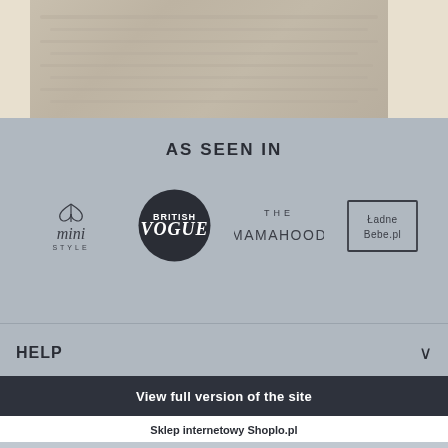[Figure (photo): Top banner image showing a blurred product/document on cream/beige background]
AS SEEN IN
[Figure (logo): Four brand logos: mini STYLE, BRITISH VOGUE (circular dark badge), THE MAMAHOOD, Ladne Bebe.pl (rectangular border)]
HELP
INFORMATION
View full version of the site
Sklep internetowy Shoplo.pl